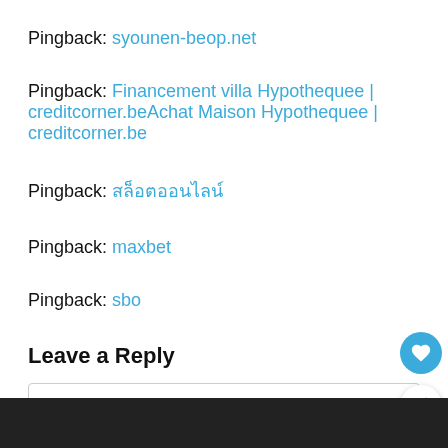Pingback: syounen-beop.net
Pingback: Financement villa Hypothequee | creditcorner.beAchat Maison Hypothequee | creditcorner.be
Pingback: สล็อตออนไลน์
Pingback: maxbet
Pingback: sbo
Leave a Reply
Enter your comment here...